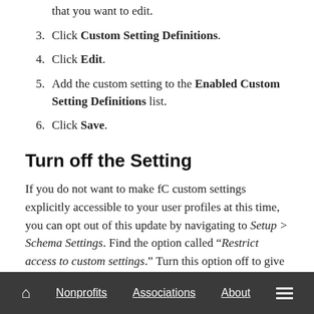that you want to edit.
3. Click Custom Setting Definitions.
4. Click Edit.
5. Add the custom setting to the Enabled Custom Setting Definitions list.
6. Click Save.
Turn off the Setting
If you do not want to make fC custom settings explicitly accessible to your user profiles at this time, you can opt out of this update by navigating to Setup > Schema Settings. Find the option called “Restrict access to custom settings.” Turn this option off to give all
Home  Nonprofits  Associations  About  Menu